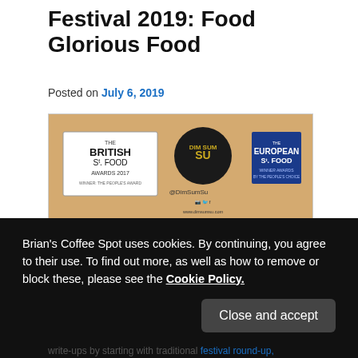Festival 2019: Food Glorious Food
Posted on July 6, 2019
[Figure (photo): A food stall menu board from Dim Sum Su at a street food festival, showing items including Chinese Style Salt 'n' Pepper Fries £4.00, Taiwanese Chicken Popcorn with Salt n Pepper Fries £8, Crispy Broccoli Bites, and Crispy Beef Bao. Signs for The British St. Food Awards 2017 and The European St. Food are visible.]
Brian's Coffee Spot uses cookies. By continuing, you agree to their use. To find out more, as well as how to remove or block these, please see the Cookie Policy.
write-ups by starting with traditional festival round-up,